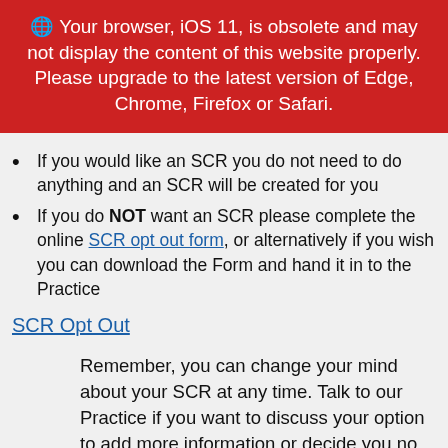🌐 Your browser, iOS 11, is obsolete and may not display the content of this website properly. Please upgrade to the latest version of Edge, Chrome, Firefox or Safari.
If you would like an SCR you do not need to do anything and an SCR will be created for you
If you do NOT want an SCR please complete the online SCR opt out form, or alternatively if you wish you can download the Form and hand it in to the Practice
SCR Opt Out
Remember, you can change your mind about your SCR at any time. Talk to our Practice if you want to discuss your option to add more information or decide you no longer want an SCR. If you do nothing we will assume you are happy for us to create a SCR for you.